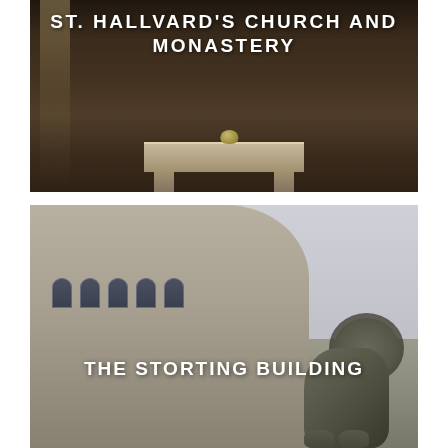[Figure (photo): Dark interior of St. Hallvard's Church and Monastery showing brick walls, dim lighting, and an altar table with objects on it]
ST. HALLVARD'S CHURCH AND MONASTERY
[Figure (photo): Exterior of The Storting Building (Norwegian parliament) showing ornate stone facade with arched windows and a lion statue in the foreground]
THE STORTING BUILDING